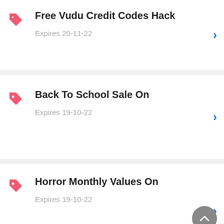Free Vudu Credit Codes Hack
Expires 20-11-22
Back To School Sale On
Expires 19-10-22
Horror Monthly Values On
Expires 19-10-22